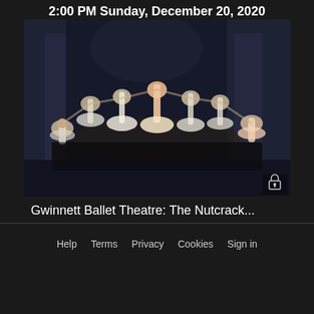2:00 PM Sunday, December 20, 2020
[Figure (photo): Ballet dancers on stage in tutus performing a group scene, likely from The Nutcracker, with a dark theatrical set backdrop. A lock icon appears in the lower right corner of the image.]
Gwinnett Ballet Theatre: The Nutcrack...
Help   Terms   Privacy   Cookies   Sign in